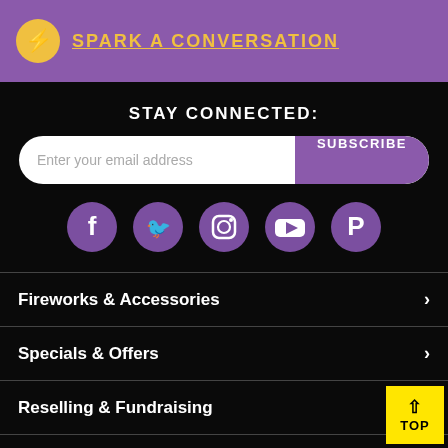[Figure (logo): Yellow circle logo with lightning bolt icon and underlined yellow text SPARK A CONVERSATION on purple background]
STAY CONNECTED:
Enter your email address | SUBSCRIBE button
[Figure (infographic): Row of five purple circular social media icons: Facebook, Twitter, Instagram, YouTube, Pinterest]
Fireworks & Accessories
Specials & Offers
Reselling & Fundraising
Education & Safety